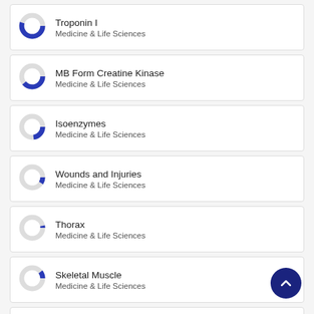Troponin I — Medicine & Life Sciences
MB Form Creatine Kinase — Medicine & Life Sciences
Isoenzymes — Medicine & Life Sciences
Wounds and Injuries — Medicine & Life Sciences
Thorax — Medicine & Life Sciences
Skeletal Muscle — Medicine & Life Sciences
Pericardial Effusion — Medicine & Life Sciences